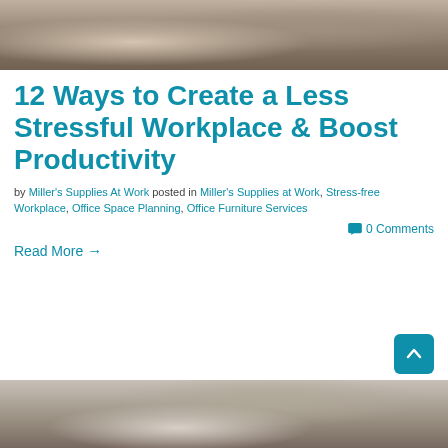[Figure (photo): Photo of hands at a desk with a coffee cup, blurred background]
12 Ways to Create a Less Stressful Workplace & Boost Productivity
by Miller's Supplies At Work posted in Miller's Supplies at Work, Stress-free Workplace, Office Space Planning, Office Furniture Services
0 Comments
Read More →
[Figure (photo): Photo of people in a meeting or office setting, partially visible]